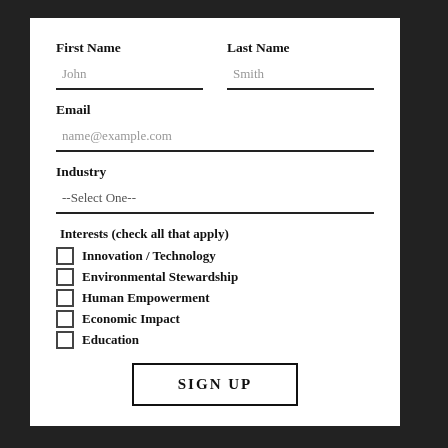First Name
Last Name
John
Smith
Email
name@example.com
Industry
--Select One--
Interests (check all that apply)
Innovation / Technology
Environmental Stewardship
Human Empowerment
Economic Impact
Education
SIGN UP